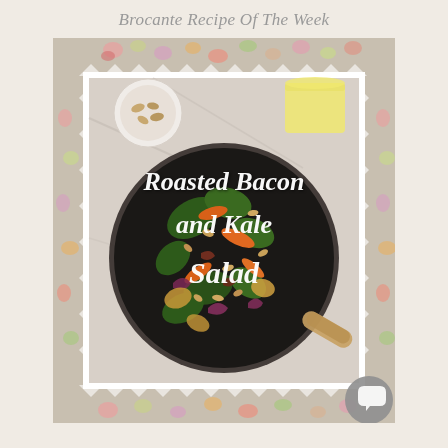Brocante Recipe Of The Week
[Figure (photo): A card-style recipe image with a decorative floral border frame. Inside is a photo of a roasted bacon and kale salad in a bowl, shot from above. Text overlay reads 'Roasted Bacon and Kale Salad' in white italic script. Visible ingredients include kale, carrots, roasted vegetables, nuts/almonds, red onion, with a small bowl of nuts and a cup of olive oil visible at the top.]